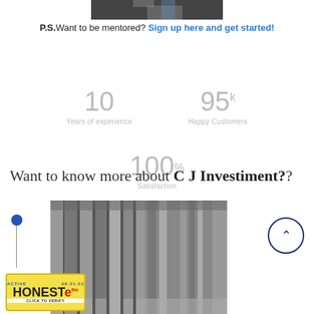[Figure (photo): Partial photo of a person in a suit at top of page]
P.S. Want to be mentored? Sign up here and get started!
[Figure (infographic): Stats infographic: 10 Years of experience, 95k Happy Customers, 100% Satisfaction]
Want to know more about C J Investiment??
[Figure (photo): Black and white photo of classical stone columns]
[Figure (logo): HonestE Active badge with date 08-21-22 and Click to Verify text]